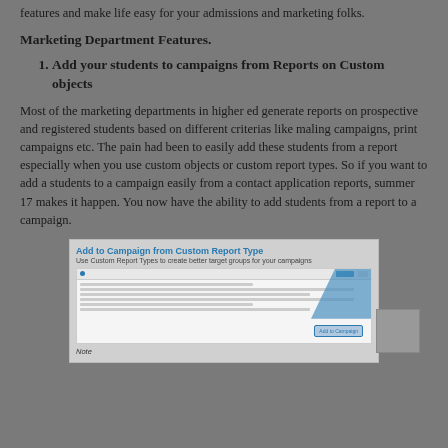features and make life easy for your admissions and marketing folks.
Marketing Department Features.
Add your students to campaigns from Reports on Custom objects
Most of the marketing departments in higher ed generate reports on prospective and registered students based on different criterias like maling campaigns, print campaigns etc. The pain had been to easily add these students from a report especially when you use custom objects or custom report types. So if you want to add a students to a campaign easily from a contact application reports, summer 17 makes it happen. You now have the ability to add students from a report to a campaign.
[Figure (screenshot): Screenshot showing 'Add to Campaign from Custom Report Type' interface with subtitle 'Use Custom Report Types to create better target groups for your campaigns' and a UI panel showing report rows and an 'Add to Campaign' button.]